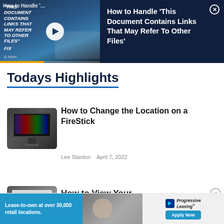[Figure (screenshot): Video thumbnail banner showing 'How to Handle This Document Contains Links That May Refer To Other Files FIX' with laptop image and play button, on dark navy background]
Todays Highlights
[Figure (photo): Article thumbnail: FireStick TV mounted on wall]
How to Change the Location on a FireStick
Lee Stanton   April 7, 2022
[Figure (photo): Article thumbnail: laptop on desk]
How to View Your
[Figure (screenshot): Progressive Leasing ad banner: Lease-to-own at over 30,000 retail locations. Apply Now.]